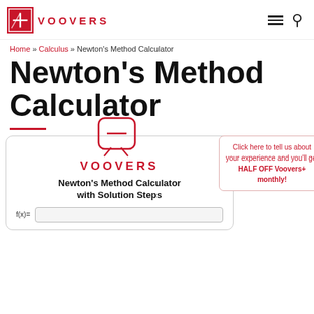VOOVERS
Home » Calculus » Newton's Method Calculator
Newton's Method Calculator
[Figure (logo): Voovers logo inside calculator box with minus sign icon]
Newton's Method Calculator with Solution Steps
Click here to tell us about your experience and you'll get HALF OFF Voovers+ monthly!